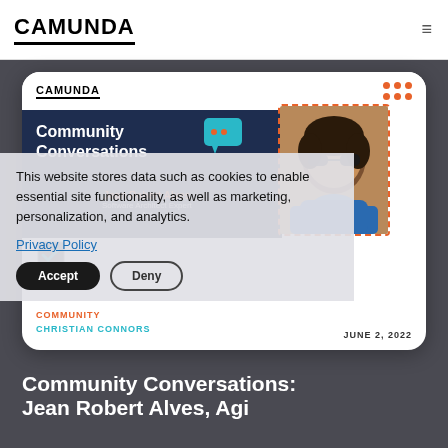CAMUNDA
[Figure (screenshot): Camunda Community Conversations article preview card showing Jean Robert Alves, Software Architect Expert, with a photo of a person wearing sunglasses. The card has the Camunda logo, orange dot pattern, navy blue banner with 'Community Conversations' text and chat icon.]
This website stores data such as cookies to enable essential site functionality, as well as marketing, personalization, and analytics.
Privacy Policy
Accept | Deny
COMMUNITY
CHRISTIAN CONNORS
JUNE 2, 2022
Community Conversations: Jean Robert Alves, Agi